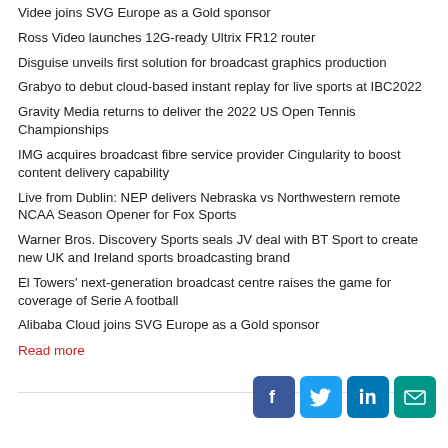Videe joins SVG Europe as a Gold sponsor
Ross Video launches 12G-ready Ultrix FR12 router
Disguise unveils first solution for broadcast graphics production
Grabyo to debut cloud-based instant replay for live sports at IBC2022
Gravity Media returns to deliver the 2022 US Open Tennis Championships
IMG acquires broadcast fibre service provider Cingularity to boost content delivery capability
Live from Dublin: NEP delivers Nebraska vs Northwestern remote NCAA Season Opener for Fox Sports
Warner Bros. Discovery Sports seals JV deal with BT Sport to create new UK and Ireland sports broadcasting brand
El Towers' next-generation broadcast centre raises the game for coverage of Serie A football
Alibaba Cloud joins SVG Europe as a Gold sponsor
Read more
[Figure (other): Social media share icons: Facebook, Twitter, LinkedIn, Email]